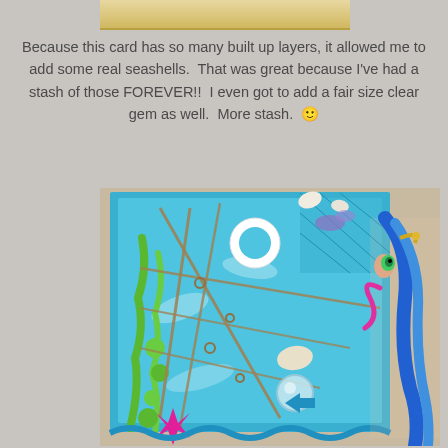[Figure (photo): Partial view of a decorative craft card at the very top of the page, showing gold/tan colored border]
Because this card has so many built up layers, it allowed me to add some real seashells.  That was great because I've had a stash of those FOREVER!!  I even got to add a fair size clear gem as well.  More stash.  🙂
[Figure (photo): Close-up photograph of a handmade craft card with an ocean/mermaid theme featuring blue patterned paper, rope netting, seashells, green seaweed die cuts, a pink starfish embellishment, a clear gem, blue arrow die cuts, and a mermaid illustration with blue hair on the right side]